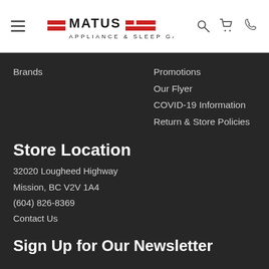[Figure (logo): Matus Appliance & Sleep Gallery logo with red horizontal bars]
Brands
Promotions
Our Flyer
COVID-19 Information
Return & Store Policies
Store Location
32020 Lougheed Highway
Mission, BC V2V 1A4
(604) 826-8369
Contact Us
Sign Up for Our Newsletter